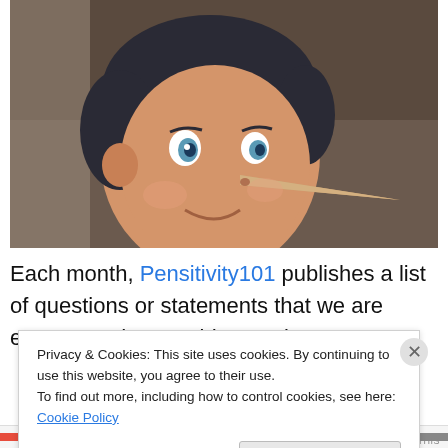[Figure (photo): Close-up photograph of a Pinocchio figurine/doll with a long wooden nose, dark hair, blue eyes, and a smiling expression. The background is dark brown/grey.]
Each month, Pensitivity101 publishes a list of questions or statements that we are encouraged to provide creative
Privacy & Cookies: This site uses cookies. By continuing to use this website, you agree to their use.
To find out more, including how to control cookies, see here: Cookie Policy
Close and accept